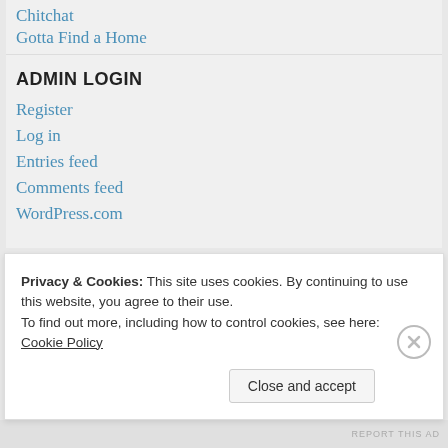Chitchat
Gotta Find a Home
ADMIN LOGIN
Register
Log in
Entries feed
Comments feed
WordPress.com
Advertisements
[Figure (logo): Automattic logo with stylized O containing a target/crosshair icon]
Privacy & Cookies: This site uses cookies. By continuing to use this website, you agree to their use.
To find out more, including how to control cookies, see here: Cookie Policy
Close and accept